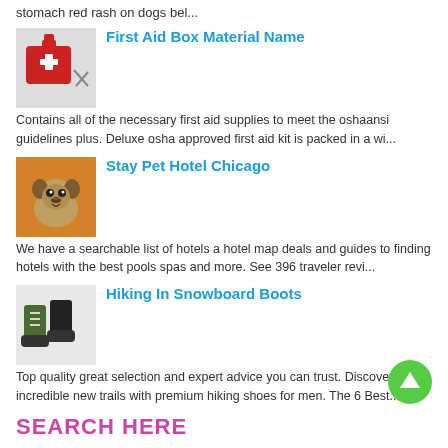stomach red rash on dogs bel...
First Aid Box Material Name
Contains all of the necessary first aid supplies to meet the oshaansi guidelines plus. Deluxe osha approved first aid kit is packed in a wi...
Stay Pet Hotel Chicago
We have a searchable list of hotels a hotel map deals and guides to finding hotels with the best pools spas and more. See 396 traveler revi...
Hiking In Snowboard Boots
Top quality great selection and expert advice you can trust. Discover incredible new trails with premium hiking shoes for men. The 6 Best...
SEARCH HERE